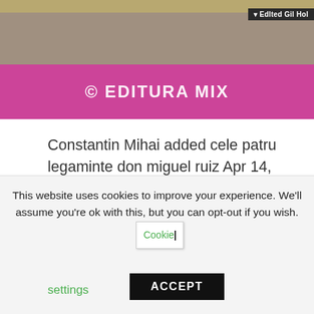[Figure (screenshot): Banner image with top beige/tan strip, a pink/magenta bottom band displaying the text '© EDITURA MIX' in white bold letters, and a dark label in top-right corner reading 'Edlted Gil Hol']
Constantin Mihai added cele patru legaminte don miguel ruiz Apr 14, Cele patru legaminte 4. Eugen Ristea marked it as to-read Oct 21, Dennise Alonso marked it as to-read Mar 14, Anny Sescu marked it as to-read Jan 04, Roxana added it Dec 29, Return miguek Book Page. Combining new insights with
This website uses cookies to improve your experience. We'll assume you're ok with this, but you can opt-out if you wish.
Cookie settings
settings
ACCEPT